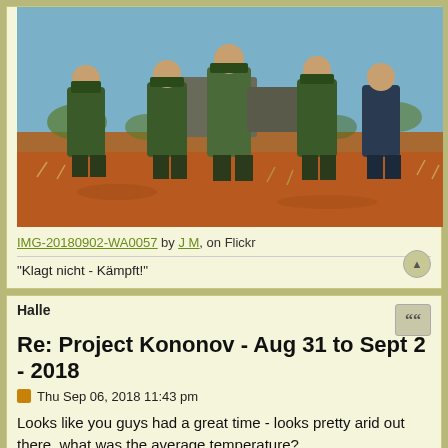[Figure (photo): Group of people in military-style green uniforms posing outdoors in an arid, red-soil landscape with sparse vegetation]
IMG-20180902-WA0057 by J M, on Flickr
"Klagt nicht - Kämpft!"
Halle
Re: Project Kononov - Aug 31 to Sept 2 - 2018
Thu Sep 06, 2018 11:43 pm
Looks like you guys had a great time - looks pretty arid out there, what was the average temperature?
Jäger Stefan Halle 2 /l /Geb.Jag.Reg.100